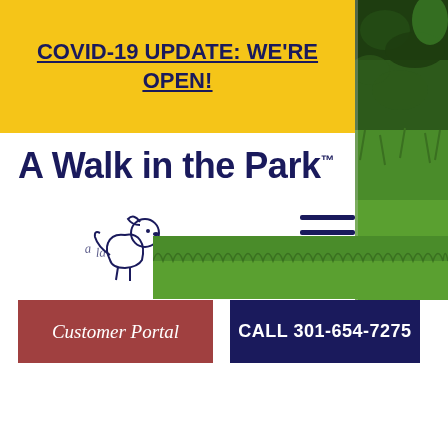COVID-19 UPDATE: WE'RE OPEN!
[Figure (photo): Outdoor garden/grass photo in top-right and bottom portions of the page]
A Walk in the Park™
[Figure (logo): Hand-drawn style dog logo with cursive/sketch lettering]
Customer Portal
CALL 301-654-7275